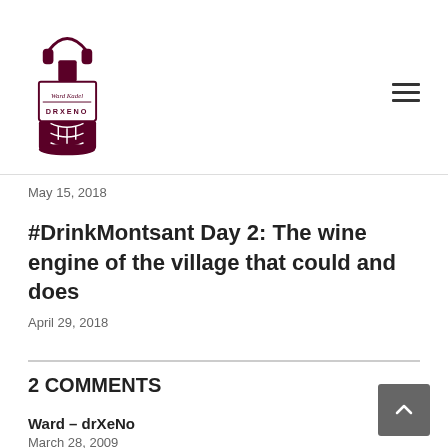[Figure (logo): Ward Kadel DRXENO logo — wine bottle with headphones and DNA helix motif]
May 15, 2018
#DrinkMontsant Day 2: The wine engine of the village that could and does
April 29, 2018
2 COMMENTS
Ward - drXeNo
March 28, 2009